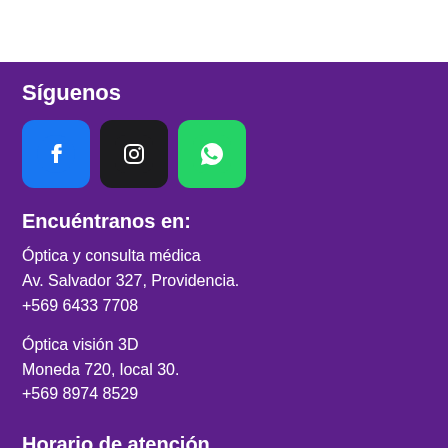Síguenos
[Figure (illustration): Three social media icons: Facebook (blue), Instagram (dark), WhatsApp (green)]
Encuéntranos en:
Óptica y consulta médica
Av. Salvador 327, Providencia.
+569 6433 7708
Óptica visión 3D
Moneda 720, local 30.
+569 8974 8529
Horario de atención
Lunes - Viernes: 10:00 a 18:00hrs.